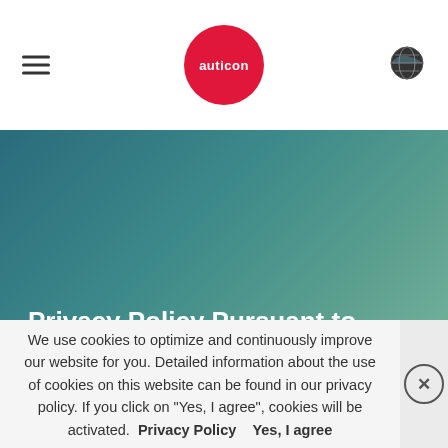auticon
[Figure (illustration): Gradient hero banner with teal-to-green gradient background]
Privacy Policy Pursuant to GDPR
We use cookies to optimize and continuously improve our website for you. Detailed information about the use of cookies on this website can be found in our privacy policy. If you click on "Yes, I agree", cookies will be activated. Privacy Policy    Yes, I agree